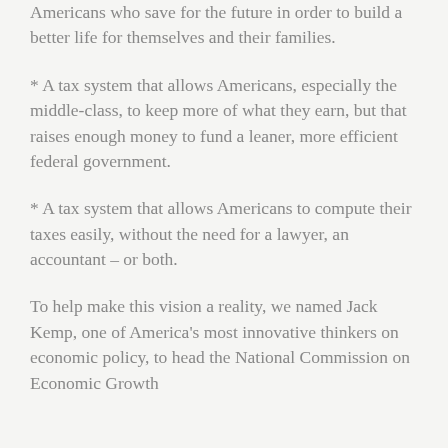Americans who save for the future in order to build a better life for themselves and their families.
* A tax system that allows Americans, especially the middle-class, to keep more of what they earn, but that raises enough money to fund a leaner, more efficient federal government.
* A tax system that allows Americans to compute their taxes easily, without the need for a lawyer, an accountant – or both.
To help make this vision a reality, we named Jack Kemp, one of America's most innovative thinkers on economic policy, to head the National Commission on Economic Growth